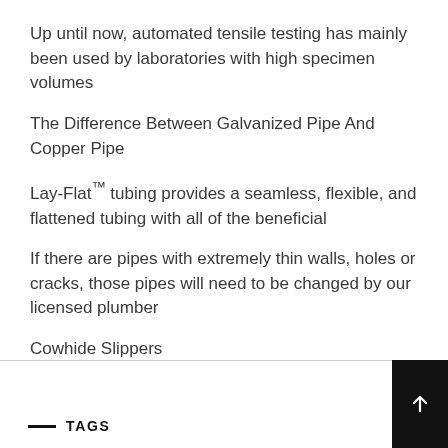Up until now, automated tensile testing has mainly been used by laboratories with high specimen volumes
The Difference Between Galvanized Pipe And Copper Pipe
Lay-Flat™ tubing provides a seamless, flexible, and flattened tubing with all of the beneficial
If there are pipes with extremely thin walls, holes or cracks, those pipes will need to be changed by our licensed plumber
Cowhide Slippers
— TAGS